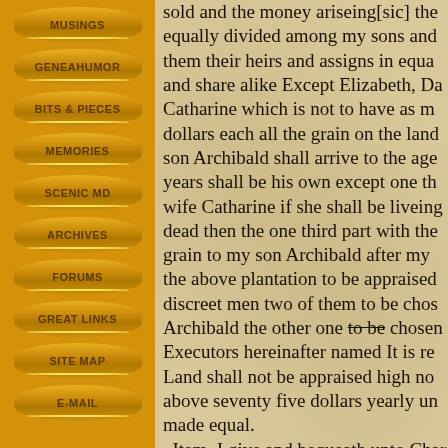MUSINGS
GENEAHUMOR
BITS & PIECES
MEMORIES
SCENIC MD
ARCHIVES
FORUMS
GREAT LINKS
SITE MAP
E-mail
sold and the money ariseing[sic] the equally divided among my sons and them their heirs and assigns in equa and share alike Except Elizabeth, Da Catharine which is not to have as m dollars each all the grain on the land son Archibald shall arrive to the age years shall be his own except one th wife Catharine if she shall be liveing dead then the one third part with the grain to my son Archibald after my the above plantation to be appraised discreet men two of them to be chos Archibald the other one to be chosen Executors hereinafter named It is re Land shall not be appraised high no above seventy five dollars yearly un made equal. Item  I give and bequeath unto Cha my two sons the Half section of land Ohio whereon they both dwell to the Charles and Jacob and the heirs of t